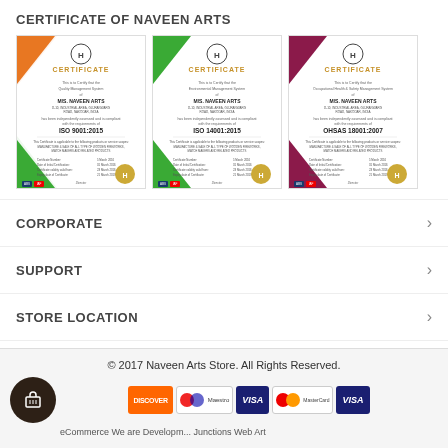CERTIFICATE OF NAVEEN ARTS
[Figure (photo): Three ISO certificate thumbnail images for M/S. Naveen Arts — ISO 9001:2015, ISO 14001:2015, and OHSAS 18001:2007]
CORPORATE
SUPPORT
STORE LOCATION
© 2017 Naveen Arts Store. All Rights Reserved.
eCommerce We are Developm... Junctions Web Art
[Figure (logo): Payment method logos: Discover, Maestro, VISA, MasterCard, VISA]